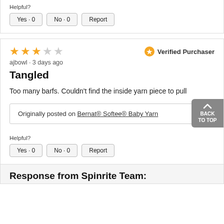Helpful?
Yes · 0
No · 0
Report
★★★☆☆  Verified Purchaser
ajbowl · 3 days ago
Tangled
Too many barfs. Couldn't find the inside yarn piece to pull
Originally posted on Bernat® Softee® Baby Yarn
Helpful?
Yes · 0
No · 0
Report
Response from Spinrite Team: